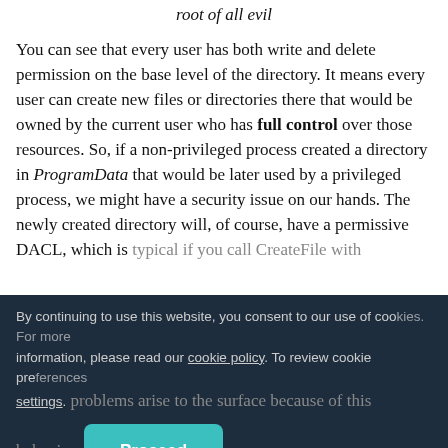root of all evil
You can see that every user has both write and delete permission on the base level of the directory. It means every user can create new files or directories there that would be owned by the current user who has full control over those resources. So, if a non-privileged process created a directory in ProgramData that would be later used by a privileged process, we might have a security issue on our hands. The newly created directory will, of course, have a permissive DACL, which is typical if you call CreateFile with ...
By continuing to use this website, you consent to our use of cookies. For more information, please read our cookie policy. To review cookie preferences settings.
1. What happens if a non-privileged process creates directories/files that would be later used...